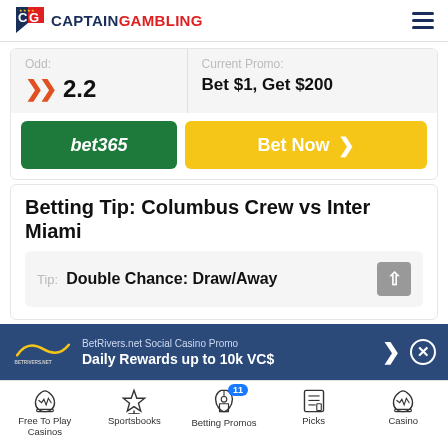CaptainGambling
| Odd: | Current Promo: |
| --- | --- |
| 2.2 | Bet $1, Get $200 |
[Figure (logo): bet365 green button]
Bet Now >
Betting Tip: Columbus Crew vs Inter Miami
Tip: Double Chance: Draw/Away
[Figure (infographic): BetRivers.net Social Casino Promo banner - Daily Rewards up to 10k VC$]
Free To Play Casinos | Sportsbooks | Betting Promos | Picks | Casino